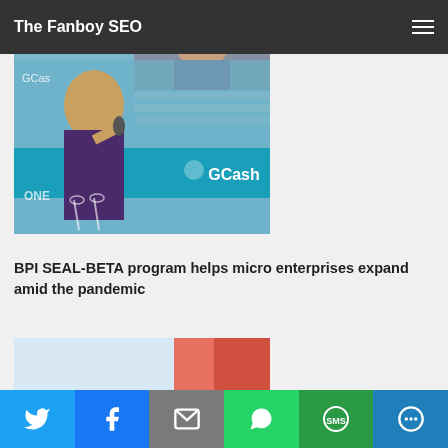The Fanboy SEO
[Figure (photo): Person speaking at a GCash event, holding a microphone, with a teal GCash banner in the background]
BPI SEAL-BETA program helps micro enterprises expand amid the pandemic
[Figure (photo): Partial view of a second article image with light blue background and orange/red accent shape]
Social share bar with Twitter, Facebook, Email, WhatsApp, SMS, More buttons